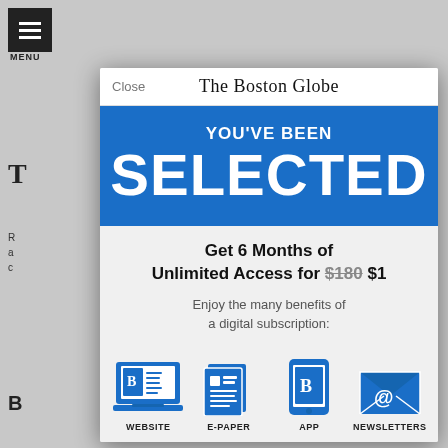[Figure (screenshot): Boston Globe subscription modal overlay on a news website. Modal shows 'YOU'VE BEEN SELECTED' in blue banner, offer text 'Get 6 Months of Unlimited Access for $180 $1', description of digital subscription benefits, and four icons: Website, E-Paper, App, Newsletters.]
Close
The Boston Globe
YOU'VE BEEN
SELECTED
Get 6 Months of Unlimited Access for $180 $1
Enjoy the many benefits of a digital subscription:
WEBSITE
E-PAPER
APP
NEWSLETTERS